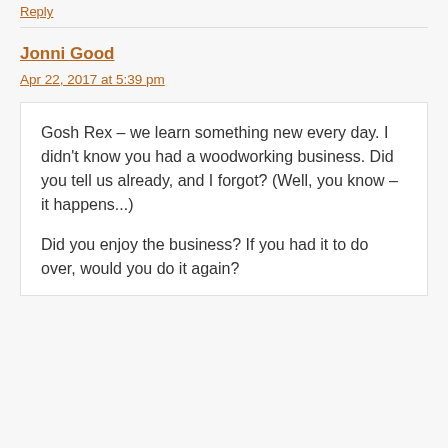Reply
Jonni Good
Apr 22, 2017 at 5:39 pm
Gosh Rex – we learn something new every day. I didn't know you had a woodworking business. Did you tell us already, and I forgot? (Well, you know – it happens...)
Did you enjoy the business? If you had it to do over, would you do it again?